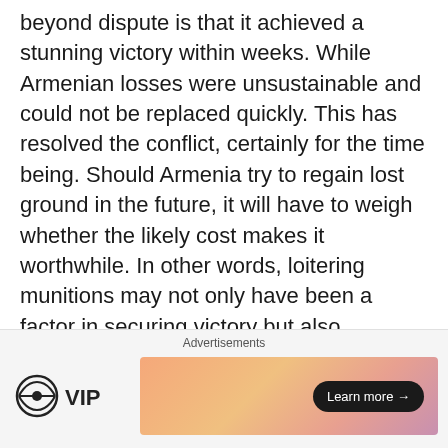beyond dispute is that it achieved a stunning victory within weeks. While Armenian losses were unsustainable and could not be replaced quickly. This has resolved the conflict, certainly for the time being. Should Armenia try to regain lost ground in the future, it will have to weigh whether the likely cost makes it worthwhile. In other words, loitering munitions may not only have been a factor in securing victory but also maintaining peace.
As NATO armies continue to model the operational usage of loitering munitions, tacticians will undoubtedly invent novel ways to
[Figure (other): Advertisement banner area with WordPress VIP logo on the left and a gradient orange/pink ad banner on the right with a 'Learn more →' button]